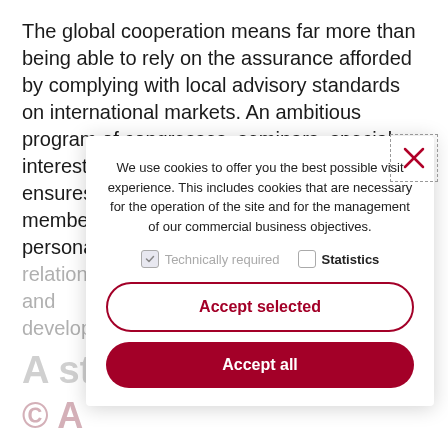The global cooperation means far more than being able to rely on the assurance afforded by complying with local advisory standards on international markets. An ambitious program of congresses, seminars, special interest groups and discussion forums ensures knowledge transfer between member firms while also supporting key personal relationships. This allows international trends and developments...
We use cookies to offer you the best possible visit experience. This includes cookies that are necessary for the operation of the site and for the management of our commercial business objectives.
Technically required   Statistics
Accept selected
Accept all